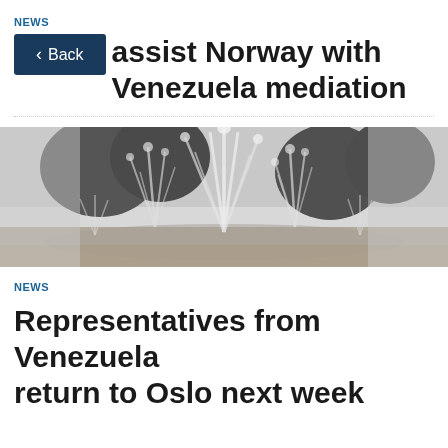NEWS
assist Norway with Venezuela mediation
[Figure (photo): Black and white photograph of fountains spraying water in a park or plaza setting with trees in the background]
NEWS
Representatives from Venezuela return to Oslo next week